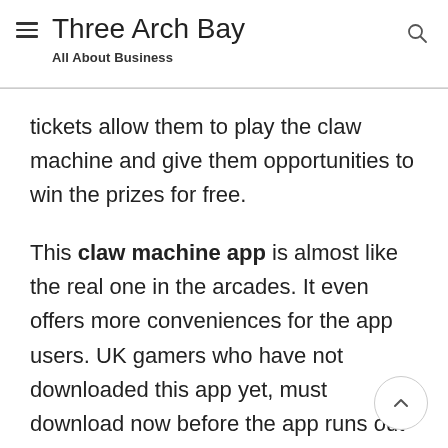Three Arch Bay
All About Business
tickets allow them to play the claw machine and give them opportunities to win the prizes for free.
This claw machine app is almost like the real one in the arcades. It even offers more conveniences for the app users. UK gamers who have not downloaded this app yet, must download now before the app runs out of free tickets.